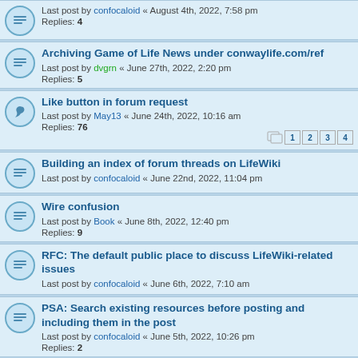Last post by confocaloid « August 4th, 2022, 7:58 pm
Replies: 4
Archiving Game of Life News under conwaylife.com/ref
Last post by dvgrn « June 27th, 2022, 2:20 pm
Replies: 5
Like button in forum request
Last post by May13 « June 24th, 2022, 10:16 am
Replies: 76
Building an index of forum threads on LifeWiki
Last post by confocaloid « June 22nd, 2022, 11:04 pm
Wire confusion
Last post by Book « June 8th, 2022, 12:40 pm
Replies: 9
RFC: The default public place to discuss LifeWiki-related issues
Last post by confocaloid « June 6th, 2022, 7:10 am
PSA: Search existing resources before posting and including them in the post
Last post by confocaloid « June 5th, 2022, 10:26 pm
Replies: 2
Glider synthesis on LifeWiki
Last post by dvgrn « May 30th, 2022, 11:18 am
Replies: 1
Is Visions of Chaos notable?
Last post by GUYTU6J « May 30th, 2022, 7:40 am
Replies: 4